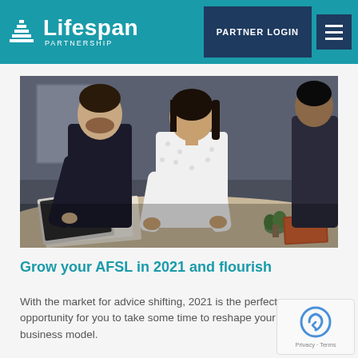Lifespan Partnership — PARTNER LOGIN
[Figure (photo): Two business professionals, a man in dark clothing and a woman in a white polka-dot blouse, leaning over a table reviewing documents in an office setting.]
Grow your AFSL in 2021 and flourish
With the market for advice shifting, 2021 is the perfect opportunity for you to take some time to reshape your business model.